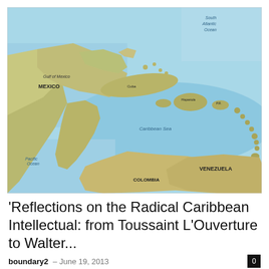[Figure (map): Geographic map of the Caribbean region showing the Gulf of Mexico, Caribbean Sea, Central America, northern South America (Venezuela, Colombia), and numerous Caribbean islands including Cuba, Hispaniola, Puerto Rico, and the Lesser Antilles. South Atlantic Ocean visible in upper right.]
'Reflections on the Radical Caribbean Intellectual: from Toussaint L'Ouverture to Walter...
boundary2  June 19, 2013  0